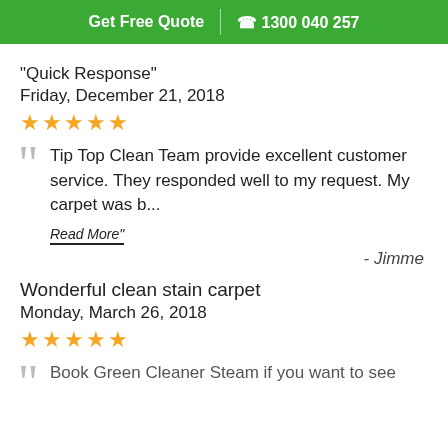Get Free Quote | 1300 040 257
"Quick Response"
Friday, December 21, 2018
★★★★★
Tip Top Clean Team provide excellent customer service. They responded well to my request. My carpet was b...
Read More"
- Jimme
Wonderful clean stain carpet
Monday, March 26, 2018
★★★★★
Book Green Cleaner Steam if you want to see